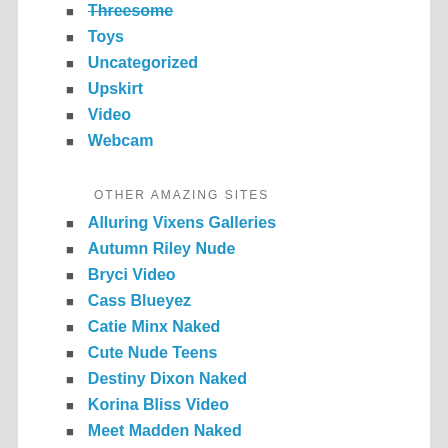Threesome
Toys
Uncategorized
Upskirt
Video
Webcam
OTHER AMAZING SITES
Alluring Vixens Galleries
Autumn Riley Nude
Bryci Video
Cass Blueyez
Catie Minx Naked
Cute Nude Teens
Destiny Dixon Naked
Korina Bliss Video
Meet Madden Naked
Naked Asians
Nikki Sims Videos
Nude Blonde Teen
Nude Lesbian Teen